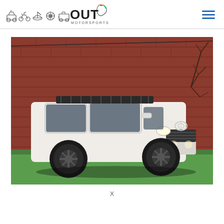OUT Motorsports logo with navigation icons and hamburger menu
[Figure (photo): White Toyota Land Cruiser SUV with roof rack, parked on grass in front of a red brick wall. The vehicle has dark alloy wheels and headlights on.]
X